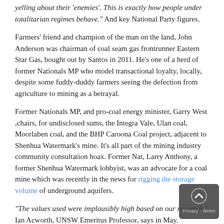yelling about their 'enemies'. This is exactly how people under totalitarian regimes behave." And key National Party figures.
Farmers' friend and champion of the man on the land, John Anderson was chairman of coal seam gas frontrunner Eastern Star Gas, bought out by Santos in 2011. He's one of a herd of former Nationals MP who model transactional loyalty, locally, despite some fuddy-duddy farmers seeing the defection from agriculture to mining as a betrayal.
Former Nationals MP, and pro-coal energy minister, Garry West ,chairs, for undisclosed sums, the Integra Vale, Ulan coal, Moorlaben coal, and the BHP Caroona Coal project, adjacent to Shenhua Watermark's mine. It's all part of the mining industry community consultation hoax. Former Nat, Larry Anthony, a former Shenhua Watermark lobbyist, was an advocate for a coal mine which was recently in the news for rigging the storage volume of underground aquifers.
“The values used were implausibly high based on our research,” Ian Acworth, UNSW Emeritus Professor, says in May.
Asking the questions, always more engaging than a talk, Ando interviews his old pal Abbo – who makes a double